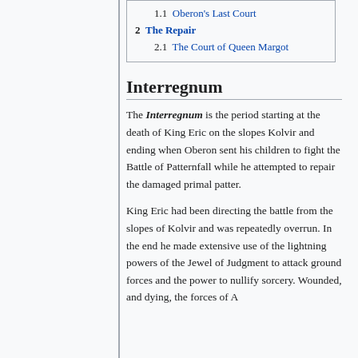1.1 Oberon's Last Court
2 The Repair
2.1 The Court of Queen Margot
Interregnum
The Interregnum is the period starting at the death of King Eric on the slopes Kolvir and ending when Oberon sent his children to fight the Battle of Patternfall while he attempted to repair the damaged primal patter.
King Eric had been directing the battle from the slopes of Kolvir and was repeatedly overrun. In the end he made extensive use of the lightning powers of the Jewel of Judgment to attack ground forces and the power to nullify sorcery. Wounded, and dying, the forces of Amber were able to through the goblin armies.